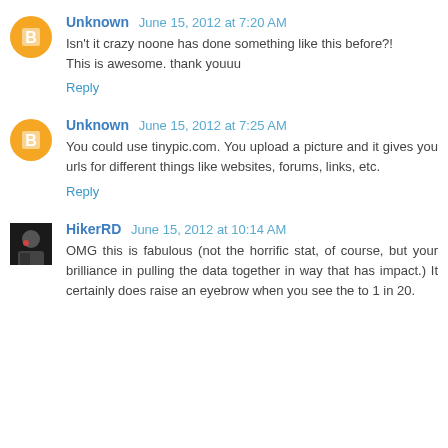Unknown June 15, 2012 at 7:20 AM
Isn't it crazy noone has done something like this before?! This is awesome. thank youuu
Reply
Unknown June 15, 2012 at 7:25 AM
You could use tinypic.com. You upload a picture and it gives you urls for different things like websites, forums, links, etc.
Reply
HikerRD June 15, 2012 at 10:14 AM
OMG this is fabulous (not the horrific stat, of course, but your brilliance in pulling the data together in way that has impact.) It certainly does raise an eyebrow when you see the to 1 in 20.